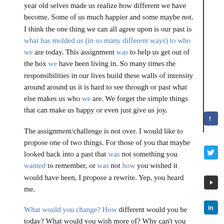year old selves made us realize how different we have become. Some of us much happier and some maybe not. I think the one thing we can all agree upon is our past is what has molded us (in so many different ways) to who we are today. This assignment was to help us get out of the box we have been living in. So many times the responsibilities in our lives build these walls of intensity around around us it is hard to see through or past what else makes us who we are. We forget the simple things that can make us happy or even just give us joy.
The assignment/challenge is not over. I would like to propose one of two things. For those of you that maybe looked back into a past that was not something you wanted to remember, or was not how you wished it would have been, I propose a rewrite. Yep, you heard me.
What would you change? How different would you be today? What would you wish more of? Why can't you re-write it?
If your journey brought you back to a time of a carefree happy time that you may have long forgotten about...